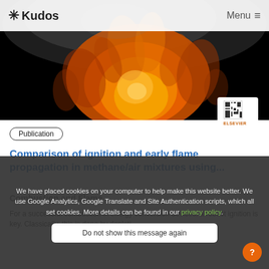* Kudos    Menu ≡
[Figure (photo): Photograph of a large orange/yellow flame fireball against a black background, hero image for the article page]
[Figure (logo): Elsevier publisher logo with QR code and text ELSEVIER in orange]
Publication
Comparison of ignition and early flame propagation in methane/air mixtures using...
Combustion and Flame
For a successful combustion in energy conversion devices, a robust ignition is key. Classically, this is done by depleti...
We have placed cookies on your computer to help make this website better. We use Google Analytics, Google Translate and Site Authentication scripts, which all set cookies. More details can be found in our privacy policy.
Do not show this message again